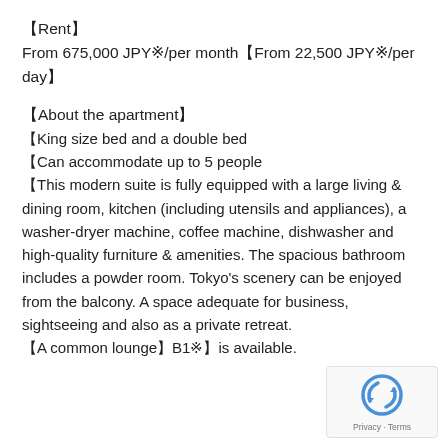【Rent】
From 675,000 JPY※/per month【From 22,500 JPY※/per day】
【About the apartment】
【King size bed and a double bed
【Can accommodate up to 5 people
【This modern suite is fully equipped with a large living & dining room, kitchen (including utensils and appliances), a washer-dryer machine, coffee machine, dishwasher and high-quality furniture & amenities. The spacious bathroom includes a powder room. Tokyo's scenery can be enjoyed from the balcony. A space adequate for business, sightseeing and also as a private retreat.
【A common lounge】B1※】is available.